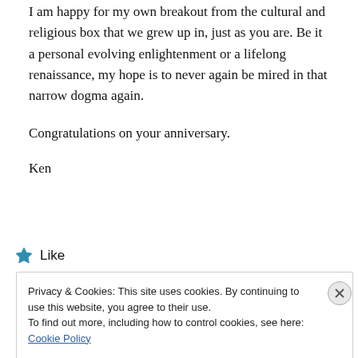I am happy for my own breakout from the cultural and religious box that we grew up in, just as you are. Be it a personal evolving enlightenment or a lifelong renaissance, my hope is to never again be mired in that narrow dogma again.

Congratulations on your anniversary.

Ken
★ Like
Privacy & Cookies: This site uses cookies. By continuing to use this website, you agree to their use.
To find out more, including how to control cookies, see here: Cookie Policy
Close and accept